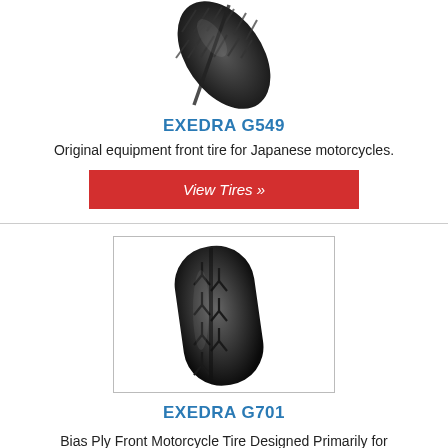[Figure (photo): Top portion of a motorcycle tire (EXEDRA G549), angled diagonally, black tread visible, cut off at top]
EXEDRA G549
Original equipment front tire for Japanese motorcycles.
View Tires »
[Figure (photo): Motorcycle tire (EXEDRA G701) shown at an angle inside a bordered rectangle, black with tread pattern]
EXEDRA G701
Bias Ply Front Motorcycle Tire Designed Primarily for Japanese Cruisers.
View Tires »